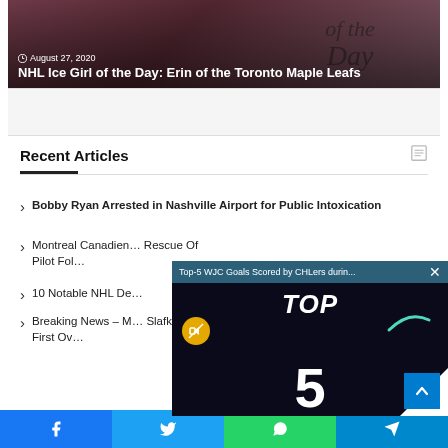[Figure (photo): Hero article image with text overlay: date August 27, 2020 and article title 'NHL Ice Girl of the Day: Erin of the Toronto Maple Leafs', with decorative script text in background]
Recent Articles
Bobby Ryan Arrested in Nashville Airport for Public Intoxication
Montreal Canadien… Rescue Of Pilot Fol…
10 Notable NHL De…
Breaking News – M… Slafkovsky First Ov…
[Figure (screenshot): Video popup overlay showing 'Top-5 WJC Goals Scored by CHLers durin...' with a dark background, TOP 5 text, mute button, teal swoosh, and white triangle corner]